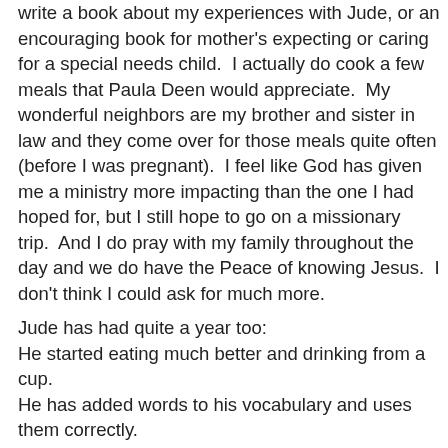write a book about my experiences with Jude, or an encouraging book for mother's expecting or caring for a special needs child.  I actually do cook a few meals that Paula Deen would appreciate.  My wonderful neighbors are my brother and sister in law and they come over for those meals quite often (before I was pregnant).  I feel like God has given me a ministry more impacting than the one I had hoped for, but I still hope to go on a missionary trip.  And I do pray with my family throughout the day and we do have the Peace of knowing Jesus.  I don't think I could ask for much more.
Jude has had quite a year too:
He started eating much better and drinking from a cup.
He has added words to his vocabulary and uses them correctly.
He learned to sit up on his own and play more.